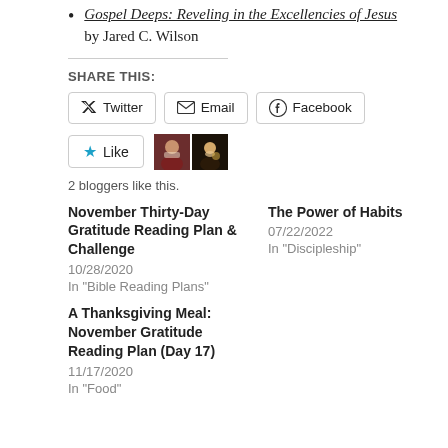Gospel Deeps: Reveling in the Excellencies of Jesus by Jared C. Wilson
SHARE THIS:
[Figure (infographic): Share buttons: Twitter, Email, Facebook]
[Figure (infographic): Like button with star, two blogger avatar thumbnails. 2 bloggers like this.]
2 bloggers like this.
November Thirty-Day Gratitude Reading Plan & Challenge
10/28/2020
In "Bible Reading Plans"
The Power of Habits
07/22/2022
In "Discipleship"
A Thanksgiving Meal: November Gratitude Reading Plan (Day 17)
11/17/2020
In "Food"